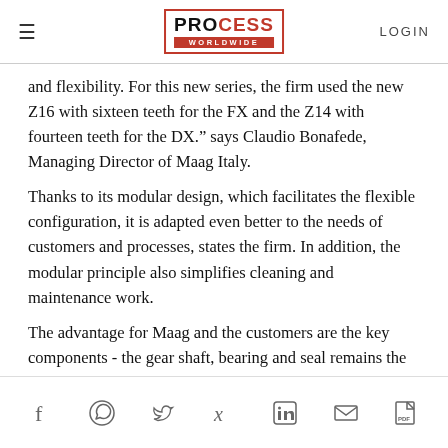PROCESS WORLDWIDE | LOGIN
and flexibility. For this new series, the firm used the new Z16 with sixteen teeth for the FX and the Z14 with fourteen teeth for the DX." says Claudio Bonafede, Managing Director of Maag Italy.
Thanks to its modular design, which facilitates the flexible configuration, it is adapted even better to the needs of customers and processes, states the firm. In addition, the modular principle also simplifies cleaning and maintenance work.
The advantage for Maag and the customers are the key components - the gear shaft, bearing and seal remains the same as before. The customers could use the new series and can still use the existing spare parts.
The range of sizes is as follows:
Social share icons: Facebook, WhatsApp, Twitter, Xing, LinkedIn, Email, PDF